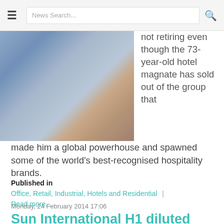≡  News Search...  🔍
[Figure (photo): A man in a light blue shirt sitting with arms crossed, partially visible, against a warm interior background.]
not retiring even though the 73-year-old hotel magnate has sold out of the group that made him a global powerhouse and spawned some of the world's best-recognised hospitality brands.
Published in
Office, Retail, Industrial, Hotels and Residential | Read more...
Monday, 24 February 2014 17:06
Sun International H1 diluted HEPS down 20% to 225c